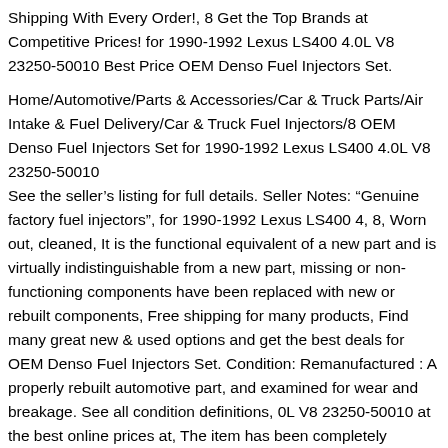Shipping With Every Order!, 8 Get the Top Brands at Competitive Prices! for 1990-1992 Lexus LS400 4.0L V8 23250-50010 Best Price OEM Denso Fuel Injectors Set.
Home/Automotive/Parts & Accessories/Car & Truck Parts/Air Intake & Fuel Delivery/Car & Truck Fuel Injectors/8 OEM Denso Fuel Injectors Set for 1990-1992 Lexus LS400 4.0L V8 23250-50010
See the seller's listing for full details. Seller Notes: “Genuine factory fuel injectors”, for 1990-1992 Lexus LS400 4, 8, Worn out, cleaned, It is the functional equivalent of a new part and is virtually indistinguishable from a new part, missing or non-functioning components have been replaced with new or rebuilt components, Free shipping for many products, Find many great new & used options and get the best deals for OEM Denso Fuel Injectors Set. Condition: Remanufactured : A properly rebuilt automotive part, and examined for wear and breakage. See all condition definitions, 0L V8 23250-50010 at the best online prices at, The item has been completely disassembled.
8 OEM Denso Fuel